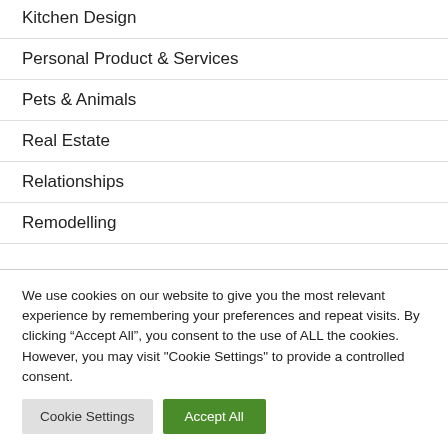Kitchen Design
Personal Product & Services
Pets & Animals
Real Estate
Relationships
Remodelling
We use cookies on our website to give you the most relevant experience by remembering your preferences and repeat visits. By clicking “Accept All”, you consent to the use of ALL the cookies. However, you may visit "Cookie Settings" to provide a controlled consent.
Cookie Settings | Accept All